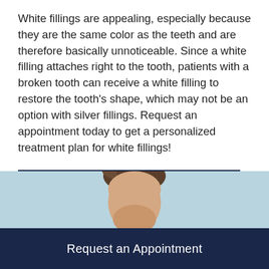White fillings are appealing, especially because they are the same color as the teeth and are therefore basically unnoticeable. Since a white filling attaches right to the tooth, patients with a broken tooth can receive a white filling to restore the tooth's shape, which may not be an option with silver fillings. Request an appointment today to get a personalized treatment plan for white fillings!
REQUEST AN APPOINTMENT
[Figure (photo): Partial photo of a man's head and hair on a light blue background, cropped at bottom of frame]
Request an Appointment